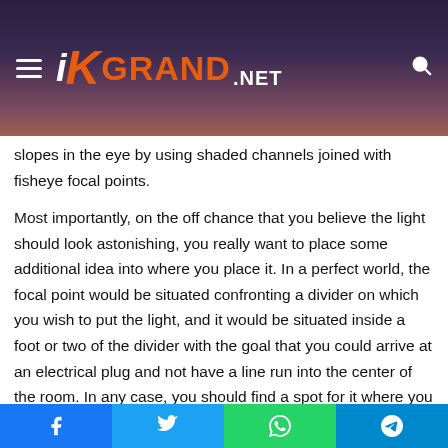iKGRAND.NET
slopes in the eye by using shaded channels joined with fisheye focal points.
Most importantly, on the off chance that you believe the light should look astonishing, you really want to place some additional idea into where you place it. In a perfect world, the focal point would be situated confronting a divider on which you wish to put the light, and it would be situated inside a foot or two of the divider with the goal that you could arrive at an electrical plug and not have a line run into the center of the room. In any case, you should find a spot for it where you are not continually strolling through the light bar except if you have any desire to continually be dazed by the light.
Facebook  Twitter  WhatsApp  Telegram